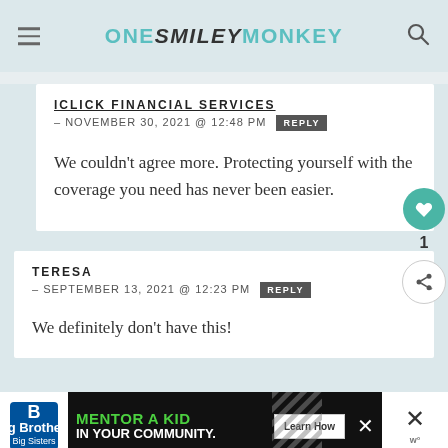ONE SMILEY MONKEY
ICLICK FINANCIAL SERVICES – NOVEMBER 30, 2021 @ 12:48 PM  REPLY

We couldn't agree more.  Protecting yourself with the coverage you need has never been easier.
TERESA – SEPTEMBER 13, 2021 @ 12:23 PM  REPLY

We definitely don't have this!
[Figure (other): Big Brothers Big Sisters advertisement banner with 'MENTOR A KID IN YOUR COMMUNITY' text and 'Learn How' button]